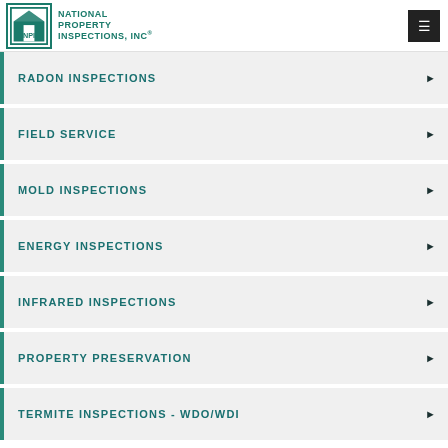National Property Inspections, Inc.
RADON INSPECTIONS
FIELD SERVICE
MOLD INSPECTIONS
ENERGY INSPECTIONS
INFRARED INSPECTIONS
PROPERTY PRESERVATION
TERMITE INSPECTIONS - WDO/WDI